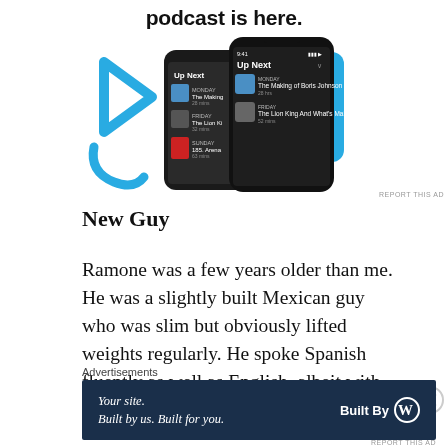[Figure (screenshot): Advertisement for a podcast app showing two smartphone screens with 'Up Next' podcast queue interface on a white background with blue graphic elements]
podcast is here.
New Guy
Ramone was a few years older than me. He was a slightly built Mexican guy who was slim but obviously lifted weights regularly. He spoke Spanish fluently as well as English, albeit with
Advertisements
[Figure (infographic): Dark blue advertisement banner: 'Your site. Built by us. Built for you.' with 'Built By' WordPress logo on the right]